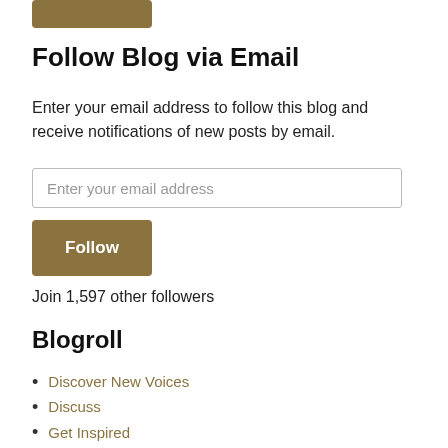[Figure (other): Golden/brown rounded rectangle button at top of page (partially cropped)]
Follow Blog via Email
Enter your email address to follow this blog and receive notifications of new posts by email.
Enter your email address
Follow
Join 1,597 other followers
Blogroll
Discover New Voices
Discuss
Get Inspired
Get Mobile
Get Polling
Get Support